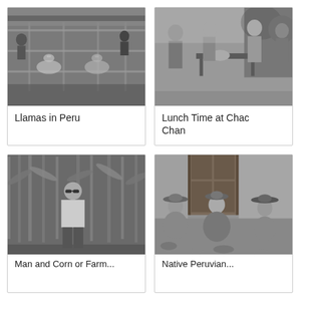[Figure (photo): Black and white photo of llamas in an enclosure in Peru, with people visible in the background]
Llamas in Peru
[Figure (photo): Black and white photo of people having lunch time at Chac Chan, gathered around a table outdoors]
Lunch Time at Chac Chan
[Figure (photo): Black and white photo of a person in sunglasses walking through a cornfield]
Man and Corn or Farm...
[Figure (photo): Black and white photo of native Peruvian people sitting on the ground near a wooden door]
Native Peruvian...